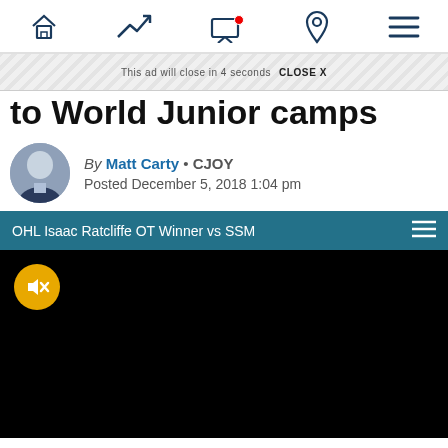[Navigation bar with home, trending, live/TV, location, and menu icons]
This ad will close in 4 seconds   CLOSE X
to World Junior camps
By Matt Carty • CJOY
Posted December 5, 2018 1:04 pm
[Figure (screenshot): Video player showing OHL Isaac Ratcliffe OT Winner vs SSM with a black screen and a muted/speaker-off button (yellow circle with mute icon)]